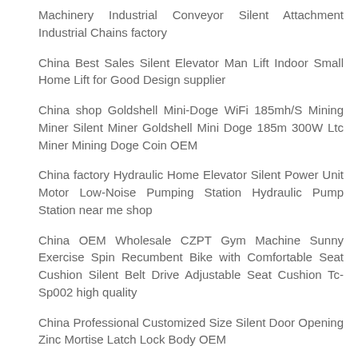Machinery Industrial Conveyor Silent Attachment Industrial Chains factory
China Best Sales Silent Elevator Man Lift Indoor Small Home Lift for Good Design supplier
China shop Goldshell Mini-Doge WiFi 185mh/S Mining Miner Silent Miner Goldshell Mini Doge 185m 300W Ltc Miner Mining Doge Coin OEM
China factory Hydraulic Home Elevator Silent Power Unit Motor Low-Noise Pumping Station Hydraulic Pump Station near me shop
China OEM Wholesale CZPT Gym Machine Sunny Exercise Spin Recumbent Bike with Comfortable Seat Cushion Silent Belt Drive Adjustable Seat Cushion Tc-Sp002 high quality
China Professional Customized Size Silent Door Opening Zinc Mortise Latch Lock Body OEM
China Professional CZPT Silent Large Ceiling Fan